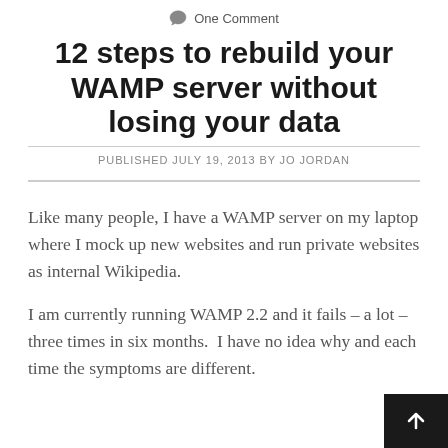One Comment
12 steps to rebuild your WAMP server without losing your data
PUBLISHED JULY 19, 2013 BY JO JORDAN
Like many people, I have a WAMP server on my laptop where I mock up new websites and run private websites as internal Wikipedia.
I am currently running WAMP 2.2 and it fails – a lot – three times in six months.  I have no idea why and each time the symptoms are different.